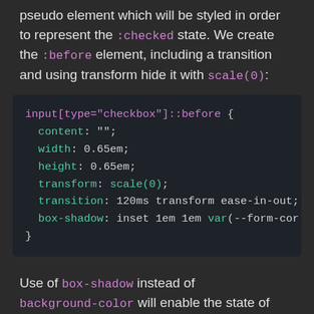pseudo element which will be styled in order to represent the :checked state. We create the :before element, including a transition and using transform hide it with scale(0):
[Figure (screenshot): Code block showing CSS for input[type="checkbox"]::before selector with properties: content: ""; width: 0.65em; height: 0.65em; transform: scale(0); transition: 120ms transform ease-in-out; box-shadow: inset 1em 1em var(--form-cor]
Use of box-shadow instead of background-color will enable the state of